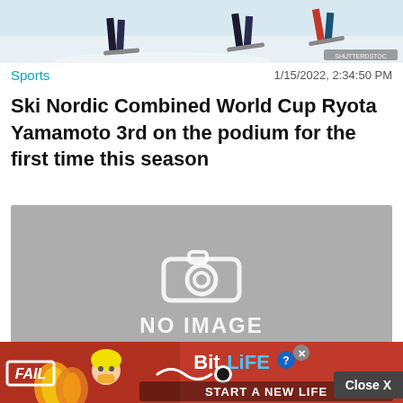[Figure (photo): Top portion of a skiing/Nordic combined photo showing legs of skiers on snow, partially cropped. Watermark text visible in bottom right corner.]
Sports    1/15/2022, 2:34:50 PM
Ski Nordic Combined World Cup Ryota Yamamoto 3rd on the podium for the first time this season
[Figure (photo): No image placeholder with camera icon and text NO IMAGE on grey background]
Sports    1/15/2022, 2:11:33 PM
The Winter Championships Zha...
[Figure (other): Advertisement banner: BitLife - Start A New Life game ad with FAIL text and cartoon character on red background]